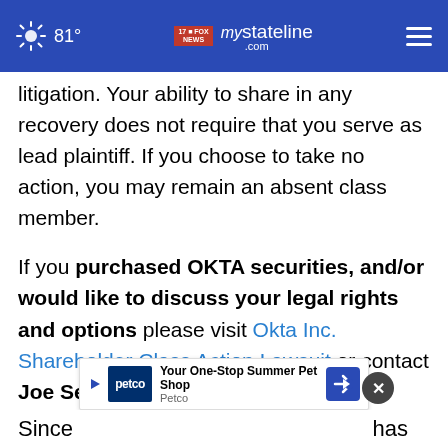81° mystateline.com
litigation. Your ability to share in any recovery does not require that you serve as lead plaintiff. If you choose to take no action, you may remain an absent class member.
If you purchased OKTA securities, and/or would like to discuss your legal rights and options please visit Okta Inc. Shareholder Class Action Lawsuit or contact Joe Seidman at (212) 951-2025 or seidman@bernlieb.com.
[Figure (other): Petco advertisement banner: 'Your One-Stop Summer Pet Shop - Petco' with Petco logo and navigation icon]
Since ... has